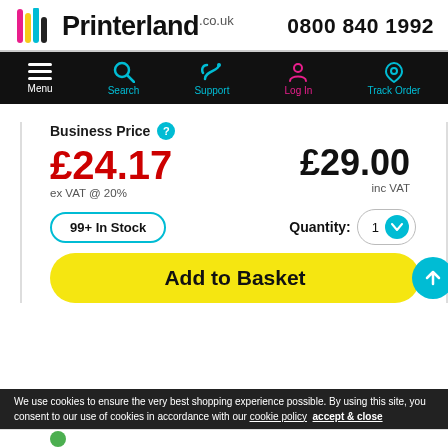[Figure (logo): Printerland.co.uk logo with colourful page icon on left]
0800 840 1992
[Figure (infographic): Black navigation bar with Menu, Search, Support, Log In, Track Order icons]
Business Price
£24.17
ex VAT @ 20%
£29.00
inc VAT
99+ In Stock
Quantity: 1
Add to Basket
We use cookies to ensure the very best shopping experience possible. By using this site, you consent to our use of cookies in accordance with our cookie policy   accept & close